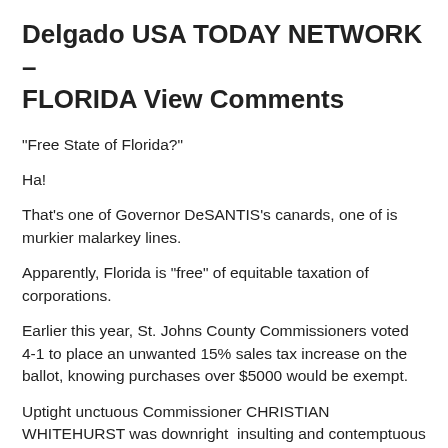Delgado USA TODAY NETWORK – FLORIDA View Comments
"Free State of Florida?"
Ha!
That's one of Governor DeSANTIS's canards, one of is murkier malarkey lines.
Apparently, Florida is "free" of equitable taxation of corporations.
Earlier this year, St. Johns County Commissioners voted 4-1 to place an unwanted 15% sales tax increase on the ballot, knowing purchases over $5000 would be exempt.
Uptight unctuous Commissioner CHRISTIAN WHITEHURST was downright  insulting and contemptuous when I raised this concern, saying Commissioners would take their legal advice from the County Attorney, and "not a disbarred lawyer."